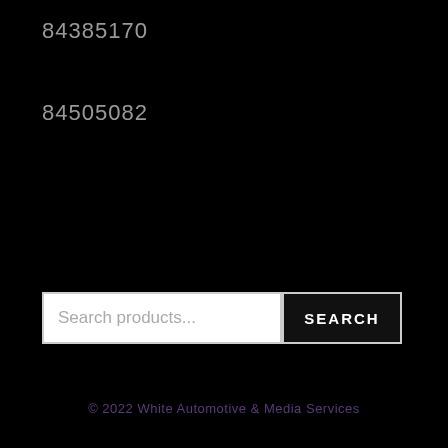84385170
84505082
Search products...
SEARCH
© 2022 White Automotive & Media Services